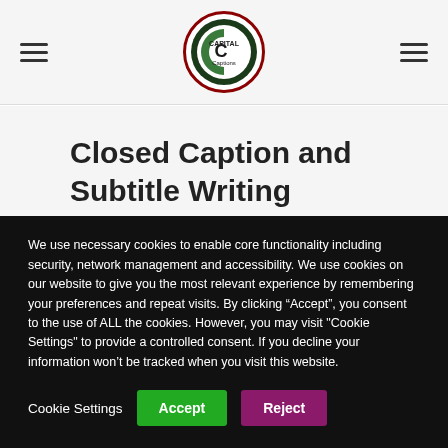Capital Captions logo with hamburger menu icons
Closed Caption and Subtitle Writing Services on a Budget
We use necessary cookies to enable core functionality including security, network management and accessibility. We use cookies on our website to give you the most relevant experience by remembering your preferences and repeat visits. By clicking “Accept”, you consent to the use of ALL the cookies. However, you may visit "Cookie Settings" to provide a controlled consent. If you decline your information won’t be tracked when you visit this website.
Cookie Settings | Accept | Reject